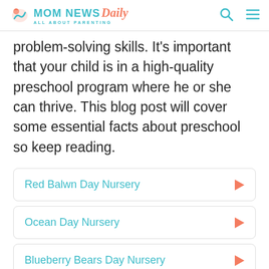MOM NEWS Daily — ALL ABOUT PARENTING
problem-solving skills. It's important that your child is in a high-quality preschool program where he or she can thrive. This blog post will cover some essential facts about preschool so keep reading.
Red Balwn Day Nursery
Ocean Day Nursery
Blueberry Bears Day Nursery